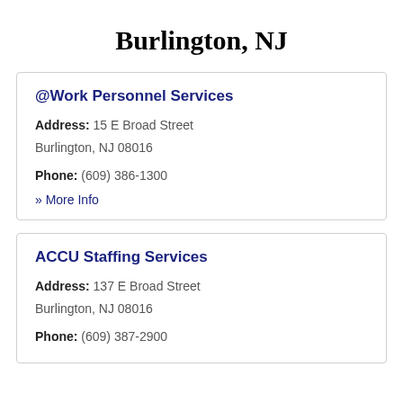Burlington, NJ
@Work Personnel Services
Address: 15 E Broad Street Burlington, NJ 08016
Phone: (609) 386-1300
» More Info
ACCU Staffing Services
Address: 137 E Broad Street Burlington, NJ 08016
Phone: (609) 387-2900